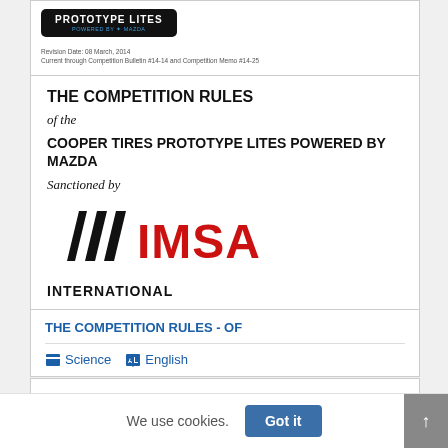[Figure (logo): Prototype Lites powered by Mazda banner logo – black rounded rectangle with white bold text PROTOTYPE LITES and blue Mazda branding below]
Revision Date: 08 March, 2014
Current through Competition Bulletin #14-14 and Competition Memo #14-25
THE COMPETITION RULES
of the
COOPER TIRES PROTOTYPE LITES POWERED BY MAZDA
Sanctioned by
[Figure (logo): IMSA logo: black diagonal stripes on left and red bold IMSA text on right]
INTERNATIONAL
THE COMPETITION RULES - OF
Science   English